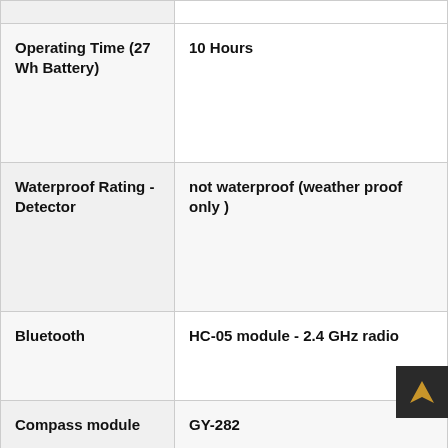| Specification | Value |
| --- | --- |
|  |  |
| Operating Time (27 Wh Battery) | 10 Hours |
| Waterproof Rating - Detector | not waterproof (weather proof only ) |
| Bluetooth | HC-05 module - 2.4 GHz radio |
| Compass module | GY-282 |
| weight total | 5600 g |